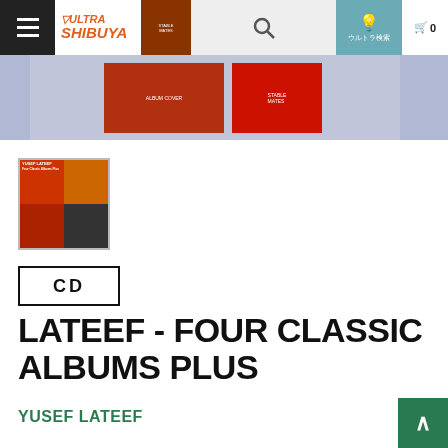Ultra Shibuya navigation bar with hamburger menu, logo, search, and cart
[Figure (screenshot): Banner image showing album covers on a purple/lavender background]
[Figure (photo): Small thumbnail of Yusef Lateef Four Classic Albums Plus CD cover]
CD
LATEEF - FOUR CLASSIC ALBUMS PLUS
YUSEF LATEEF
□□□□□□□□□/□□□□□□□□□□□□□□□□□□□□□□□□□
□□□□□□□/JAZZ
2016-01-30 □□